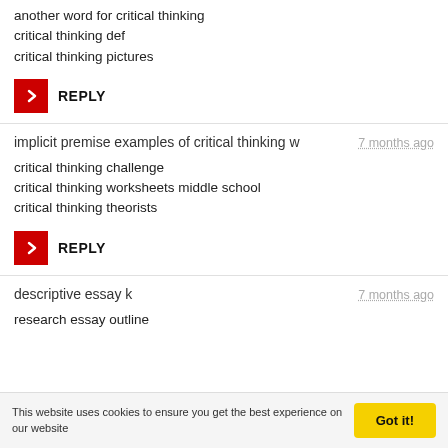another word for critical thinking
critical thinking def
critical thinking pictures
[Figure (other): Red square REPLY button with right-pointing chevron icon]
implicit premise examples of critical thinking w
7 months ago
critical thinking challenge
critical thinking worksheets middle school
critical thinking theorists
[Figure (other): Red square REPLY button with right-pointing chevron icon]
descriptive essay k
7 months ago
research essay outline
This website uses cookies to ensure you get the best experience on our website